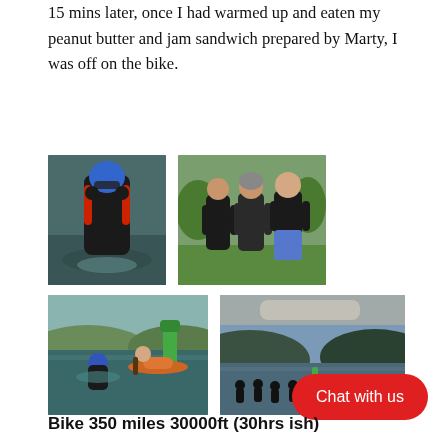15 mins later, once I had warmed up and eaten my peanut butter and jam sandwich prepared by Marty, I was off on the bike.
[Figure (photo): Athlete in black wetsuit and blue swim cap emerging from dark water]
[Figure (photo): Three people standing on grass, two in wetsuits and one in casual clothes]
[Figure (photo): Swimmer in water near a green buoy with a kayaker alongside]
[Figure (photo): Panoramic view of a lake at dusk with a line of athletes in wetsuits entering the water]
Bike 350 miles 30000ft (30hrs ish)